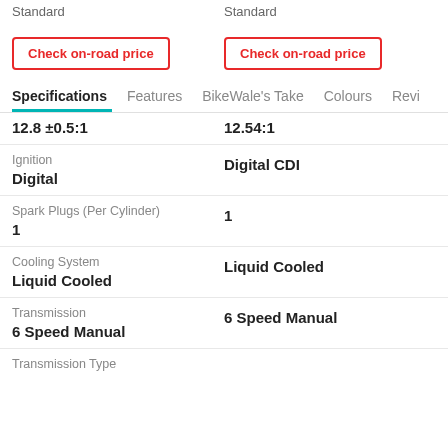Standard
Standard
Check on-road price
Check on-road price
Specifications | Features | BikeWale's Take | Colours | Revi
|  |  |
| --- | --- |
| 12.8 ±0.5:1 | 12.54:1 |
| Ignition |  |
| Digital | Digital CDI |
| Spark Plugs (Per Cylinder) |  |
| 1 | 1 |
| Cooling System |  |
| Liquid Cooled | Liquid Cooled |
| Transmission |  |
| 6 Speed Manual | 6 Speed Manual |
| Transmission Type |  |